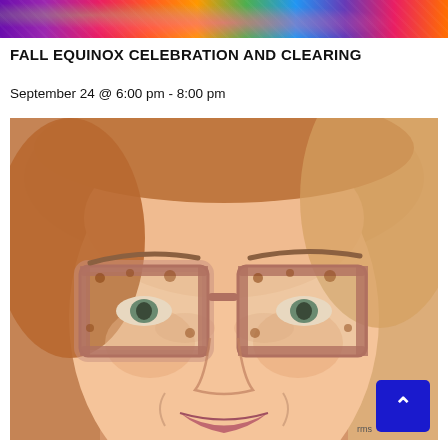[Figure (photo): Colorful abstract/psychedelic banner image at the top, serving as a decorative header]
FALL EQUINOX CELEBRATION AND CLEARING
September 24 @ 6:00 pm - 8:00 pm
[Figure (photo): Close-up portrait photo of a smiling woman with blonde hair wearing large tortoiseshell/pink oversized glasses]